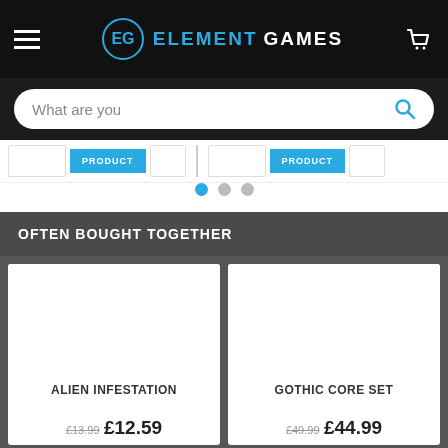Element Games
What are you
OFTEN BOUGHT TOGETHER
ALIEN INFESTATION
£13.99 £12.59
GOTHIC CORE SET
£49.99 £44.99